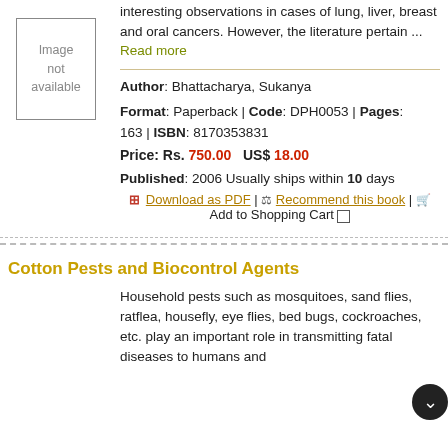interesting observations in cases of lung, liver, breast and oral cancers. However, the literature pertain ... Read more
[Figure (other): Image not available placeholder box]
Author: Bhattacharya, Sukanya
Format: Paperback | Code: DPH0053 | Pages: 163 | ISBN: 8170353831
Price: Rs. 750.00  US$ 18.00
Published: 2006 Usually ships within 10 days
Download as PDF | Recommend this book | Add to Shopping Cart
Cotton Pests and Biocontrol Agents
Household pests such as mosquitoes, sand flies, ratflea, housefly, eye flies, bed bugs, cockroaches, etc. play an important role in transmitting fatal diseases to humans and